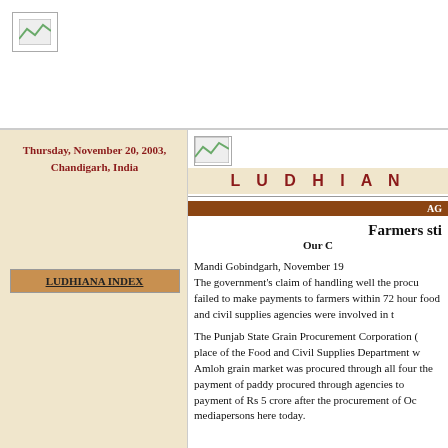[Figure (logo): Newspaper logo/banner image at top]
Thursday, November 20, 2003, Chandigarh, India
[Figure (logo): Small newspaper image top right area]
L U D H I A N A
LUDHIANA INDEX
AG
Farmers sti
Our C
Mandi Gobindgarh, November 19
The government’s claim of handling well the procu failed to make payments to farmers within 72 hour food and civil supplies agencies were involved in t
The Punjab State Grain Procurement Corporation ( place of the Food and Civil Supplies Department w Amloh grain market was procured through all four the payment of paddy procured through agencies to payment of Rs 5 crore after the procurement of Oc mediapersons here today.